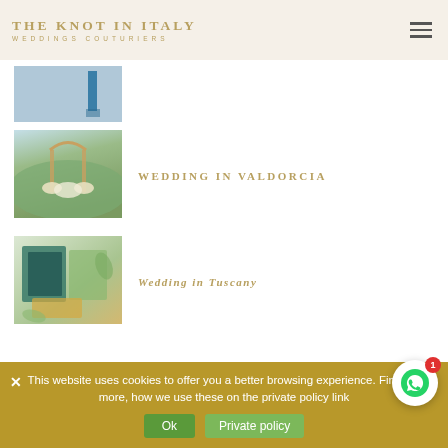THE KNOT IN ITALY | WEDDINGS COUTURIERS
[Figure (photo): Partial wedding photo showing blue ribbon/sash detail]
[Figure (photo): Outdoor wedding ceremony arch with pampas grass florals in Valdorcia landscape]
WEDDING IN VALDORCIA
[Figure (photo): Wedding stationery flatlay with green and teal invitation cards and botanical accents]
Wedding in Tuscany
This website uses cookies to offer you a better browsing experience. Find out more, how we use these on the private policy link
Ok   Private policy